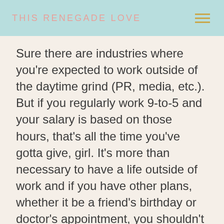THIS RENEGADE LOVE
Sure there are industries where you're expected to work outside of the daytime grind (PR, media, etc.). But if you regularly work 9-to-5 and your salary is based on those hours, that's all the time you've gotta give, girl. It's more than necessary to have a life outside of work and if you have other plans, whether it be a friend's birthday or doctor's appointment, you shouldn't